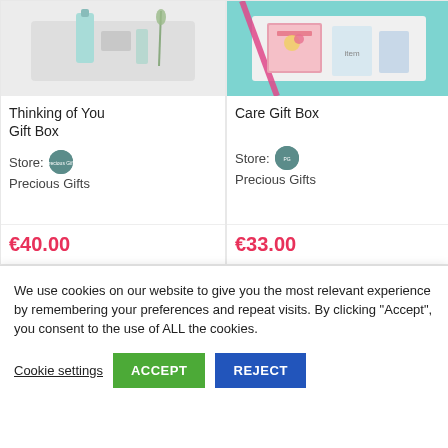[Figure (photo): Product photo of Thinking of You Gift Box — cosmetics/toiletries on a silver tray with a light background]
[Figure (photo): Product photo of Care Gift Box — books and items in a white box on a teal/turquoise background with pink ribbon]
Thinking of You Gift Box
Care Gift Box
Store:  Precious Gifts
Store:  Precious Gifts
€40.00
€33.00
We use cookies on our website to give you the most relevant experience by remembering your preferences and repeat visits. By clicking “Accept”, you consent to the use of ALL the cookies.
Cookie settings
ACCEPT
REJECT